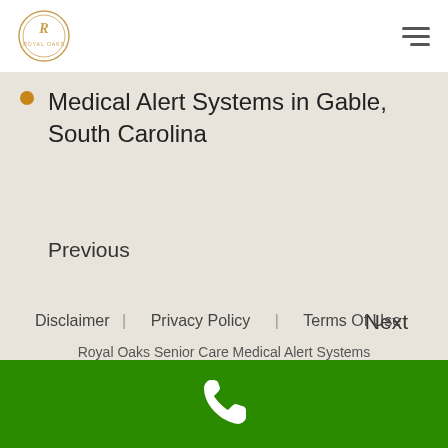Royal Oaks Senior Care Medical Alert Systems
Medical Alert Systems in Gable, South Carolina
Previous
Next
Disclaimer   Privacy Policy   Terms Of Use
Royal Oaks Senior Care Medical Alert Systems
© 2020 Royal Oaks Senior Care Medical Alert Systems